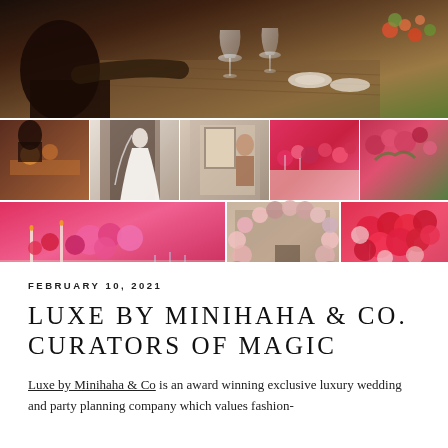[Figure (photo): A collage of wedding and event planning photos: top row shows a person arranging an elegant table setting with glassware and flowers; middle row has five smaller photos including event staff, a bride in white gown, a woman in a doorway, a flower-covered long table, and colorful floral arrangements; bottom row has three photos including a table with red and pink flowers, a balloon arch in pastel colors in a grand room, and a red balloon cluster arrangement.]
FEBRUARY 10, 2021
LUXE BY MINIHAHA & CO. CURATORS OF MAGIC
Luxe by Minihaha & Co is an award winning exclusive luxury wedding and party planning company which values fashion-